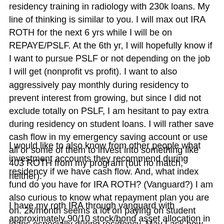residency training in radiology with 230k loans. My line of thinking is similar to you. I will max out IRA ROTH for the next 6 yrs while I will be on REPAYE/PSLF. At the 6th yr, I will hopefully know if I want to pursue PSLF or not depending on the job I will get (nonprofit vs profit). I want to also aggressively pay monthly during residency to prevent interest from growing, but since I did not exclude totally on PSLF, I am hesitant to pay extra during residency on student loans. I will rather save cash flow in my emergency saving account or use all or some of them to invest into something like 403 ROTH from my program (but no match, neither).
I would like to also know from other people what investment accounts they recommend during residency if we have cash flow. And, what index fund do you have for IRA ROTH? (Vanguard?) I am also curious to know what repayment plan you are on. 2k/month seems a lot on paying on student loans especially during residency. May I ask how much is your loan principle?
Click to expand...
I have my roth IRA through vanguard with approximately 90/10 stock/bond asset allocation in total admiral stock, total admiral international stock, and total bond.. I worked before